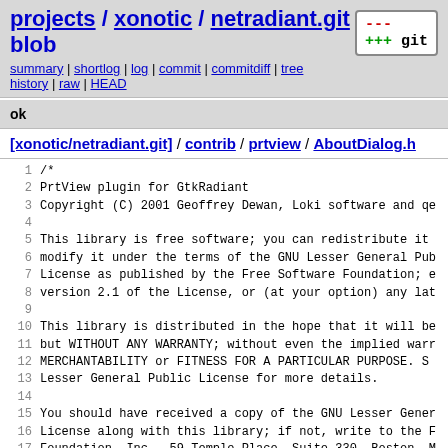projects / xonotic / netradiant.git / blob
summary | shortlog | log | commit | commitdiff | tree history | raw | HEAD
ok
[xonotic/netradiant.git] / contrib / prtview / AboutDialog.h
1  /*
2  PrtView plugin for GtkRadiant
3  Copyright (C) 2001 Geoffrey Dewan, Loki software and qe
4
5  This library is free software; you can redistribute it
6  modify it under the terms of the GNU Lesser General Pub
7  License as published by the Free Software Foundation; e
8  version 2.1 of the License, or (at your option) any lat
9
10 This library is distributed in the hope that it will be
11 but WITHOUT ANY WARRANTY; without even the implied warr
12 MERCHANTABILITY or FITNESS FOR A PARTICULAR PURPOSE.  S
13 Lesser General Public License for more details.
14
15 You should have received a copy of the GNU Lesser Gener
16 License along with this library; if not, write to the F
17 Foundation, Inc., 59 Temple Place, Suite 330, Boston, M
18 */
19
20 #if !defined(AFX_ABOUTDIALOG_H__FA3BE6A2_1F1F_11D4_BFF1
21 #define AFX_ABOUTDIALOG_H__FA3BE6A2_1F1F_11D4_BFF1_0014